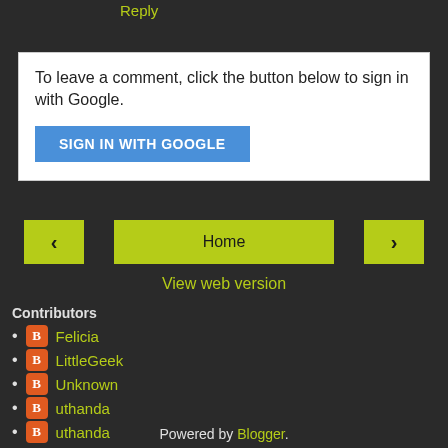Reply
To leave a comment, click the button below to sign in with Google.
SIGN IN WITH GOOGLE
Home
View web version
Contributors
Felicia
LittleGeek
Unknown
uthanda
uthanda
Powered by Blogger.